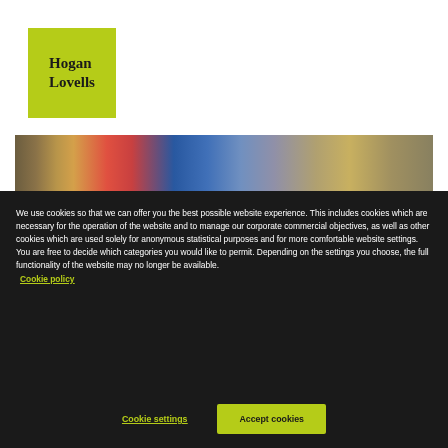[Figure (logo): Hogan Lovells logo — yellow-green square with serif text 'Hogan Lovells' in dark color]
[Figure (photo): Horizontal banner photo showing colorful books or folders viewed from the side, in warm tones of red, blue, and gold]
We use cookies so that we can offer you the best possible website experience. This includes cookies which are necessary for the operation of the website and to manage our corporate commercial objectives, as well as other cookies which are used solely for anonymous statistical purposes and for more comfortable website settings. You are free to decide which categories you would like to permit. Depending on the settings you choose, the full functionality of the website may no longer be available. Cookie policy
Cookie settings
Accept cookies